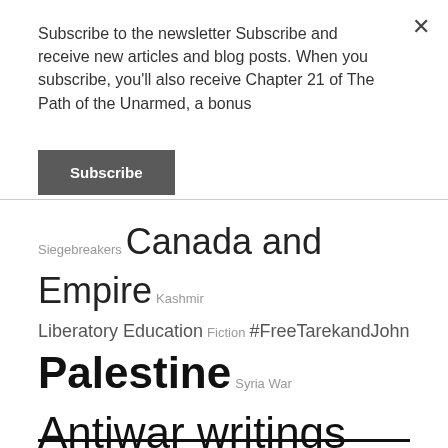Subscribe to the newsletter Subscribe and receive new articles and blog posts. When you subscribe, you'll also receive Chapter 21 of The Path of the Unarmed, a bonus
Subscribe
Siegebreakers  Canada and Empire  Kashmir  Liberatory Education  Fiction  #FreeTarekandJohn  Palestine  Syria War  Antiwar writings  Leftist theory  Venezuela Coups  Environmental Science  Congo and Rwanda Wars  Chiapas and Zapatistas